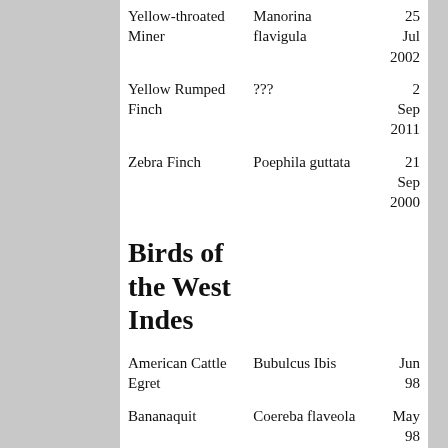| Common Name | Scientific Name | Date |
| --- | --- | --- |
| Yellow-throated Miner | Manorina flavigula | 25 Jul 2002 |
| Yellow Rumped Finch | ??? | 2 Sep 2011 |
| Zebra Finch | Poephila guttata | 21 Sep 2000 |
Birds of the West Indes
| Common Name | Scientific Name | Date |
| --- | --- | --- |
| American Cattle Egret | Bubulcus Ibis | Jun 98 |
| Bananaquit | Coereba flaveola | May 98 |
| Bare-eyed Thrush | Turdus nudigensis | Jun 98 |
| Barn Swallow | Hirundo rustica | May |